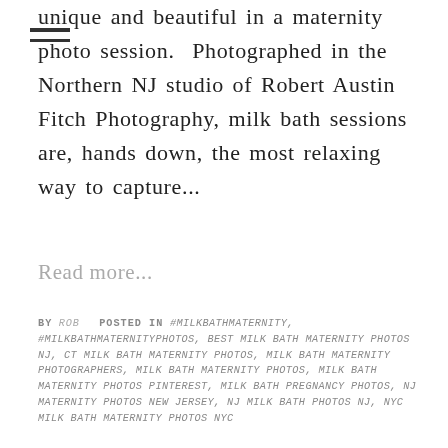unique and beautiful in a maternity photo session. Photographed in the Northern NJ studio of Robert Austin Fitch Photography, milk bath sessions are, hands down, the most relaxing way to capture...
Read more...
BY ROB POSTED IN #MILKBATHMATERNITY, #MILKBATHMATERNITY PHOTOS, BEST MILK BATH MATERNITY PHOTOS NJ, CT MILK BATH MATERNITY PHOTOS, MILK BATH MATERNITY PHOTOGRAPHERS, MILK BATH MATERNITY PHOTOS, MILK BATH MATERNITY PHOTOS PINTEREST, MILK BATH PREGNANCY PHOTOS, NJ MATERNITY PHOTOS NEW JERSEY, NJ MILK BATH PHOTOS NJ, NYC MILK BATH MATERNITY PHOTOS NYC